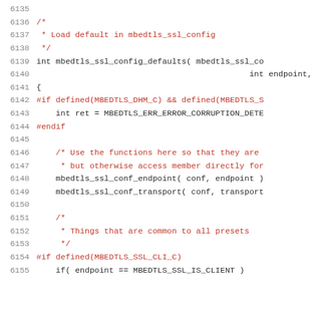Source code listing lines 6135-6155, C language snippet from mbedtls SSL configuration source file.